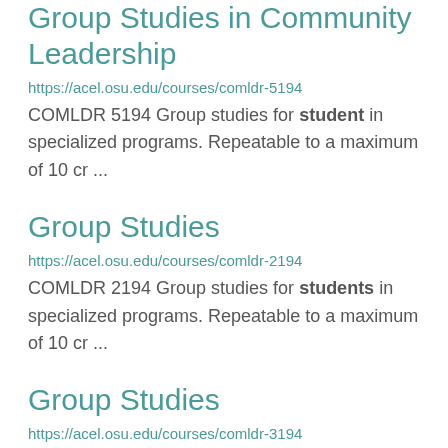Group Studies in Community Leadership
https://acel.osu.edu/courses/comldr-5194
COMLDR 5194 Group studies for student in specialized programs. Repeatable to a maximum of 10 cr ...
Group Studies
https://acel.osu.edu/courses/comldr-2194
COMLDR 2194 Group studies for students in specialized programs. Repeatable to a maximum of 10 cr ...
Group Studies
https://acel.osu.edu/courses/comldr-3194